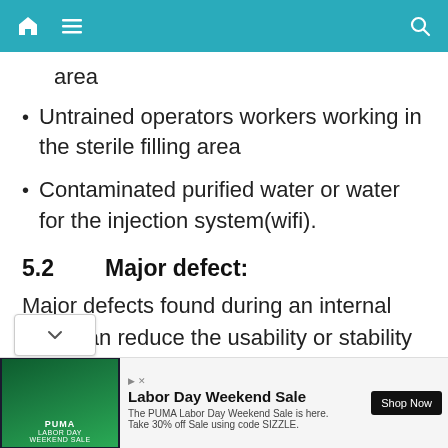Navigation bar with home, menu, and search icons
area
Untrained operators workers working in the sterile filling area
Contaminated purified water or water for the injection system(wifi).
5.2        Major defect:
Major defects found during an internal audit can reduce the usability or stability of a product, but without causing harm to the consumer.